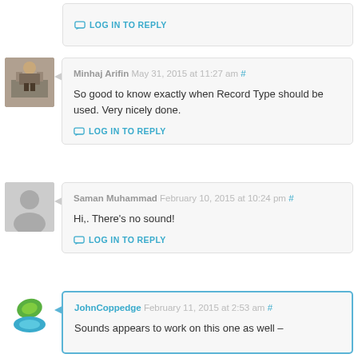LOG IN TO REPLY
Minhaj Arifin May 31, 2015 at 11:27 am #
So good to know exactly when Record Type should be used. Very nicely done.
LOG IN TO REPLY
Saman Muhammad February 10, 2015 at 10:24 pm #
Hi,. There's no sound!
LOG IN TO REPLY
JohnCoppedge February 11, 2015 at 2:53 am #
Sounds appears to work on this one as well –